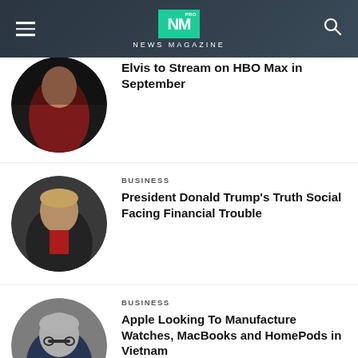NEWS MAGAZINE
Elvis to Stream on HBO Max in September
BUSINESS
President Donald Trump's Truth Social Facing Financial Trouble
BUSINESS
Apple Looking To Manufacture Watches, MacBooks and HomePods in Vietnam